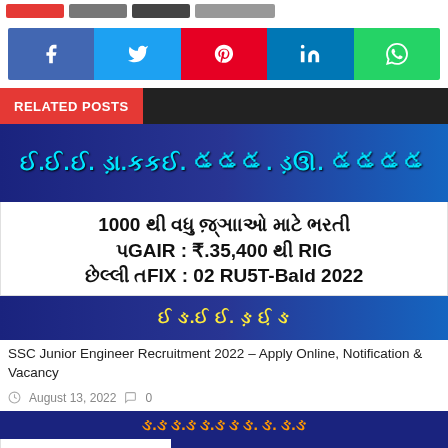[Figure (infographic): Top navigation buttons (red, gray, dark gray, light gray)]
[Figure (infographic): Social media sharing bar with Facebook, Twitter, Pinterest, LinkedIn, WhatsApp icons]
RELATED POSTS
[Figure (infographic): Dark blue banner with Gujarati text in cyan]
1000 થી વધુ જ઼્ઞાાઓ માટે ભરતી
PGAIR : 3.35,400 થી RIG
છેલ્લી તરીFIN : 02 RU5T-Bald 2022
[Figure (infographic): Dark blue banner with yellow Gujarati text]
SSC Junior Engineer Recruitment 2022 – Apply Online, Notification & Vacancy
August 13, 2022  0
[Figure (infographic): Dark blue banner with orange Gujarati text]
[Figure (infographic): CISF recruitment card with logos and Gujarati text: પોસ્ટનું નામ:સબ ઇન્સ્પેક્ટર, કુલ જ઼્ઞાાઓ:4300]